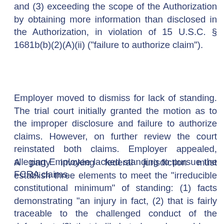and (3) exceeding the scope of the Authorization by obtaining more information than disclosed in the Authorization, in violation of 15 U.S.C. § 1681b(b)(2)(A)(ii) ("failure to authorize claim").
Employer moved to dismiss for lack of standing. The trial court initially granted the motion as to the improper disclosure and failure to authorize claims. However, on further review the court reinstated both claims. Employer appealed, alleging Employee lacked standing to pursue the FCRA claims.
A party invoking federal jurisdiction must establish three elements to meet the "irreducible constitutional minimum" of standing: (1) facts demonstrating "an injury in fact, (2) that is fairly traceable to the challenged conduct of the defendant, (3) that is likely to be redressed by a favorable judicial decision." Spokeo, Inc., v. Robins, 578 U.S. 330, 338 (2016) (citations omitted). Injury in fact has been